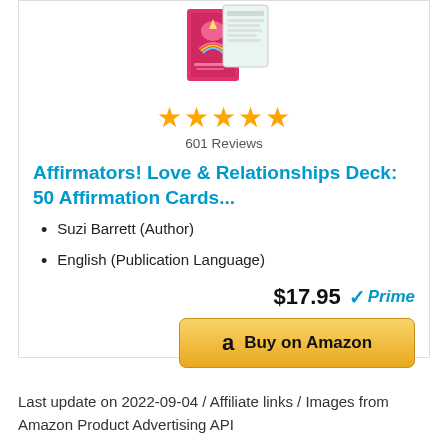[Figure (photo): Product photo of Affirmators! Love & Relationships Deck card box, pink/magenta color with unicorn illustration, shown partially at top of card]
[Figure (other): Five gold/orange star rating icons]
601 Reviews
Affirmators! Love & Relationships Deck: 50 Affirmation Cards...
Suzi Barrett (Author)
English (Publication Language)
$17.95 ✓Prime
Buy on Amazon
Last update on 2022-09-04 / Affiliate links / Images from Amazon Product Advertising API